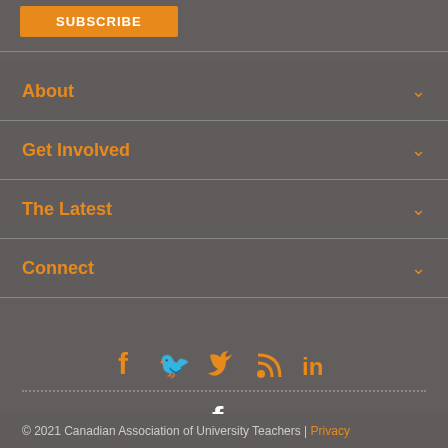SUBSCRIBE
About
Get Involved
The Latest
Connect
[Figure (infographic): Social media icons: Facebook, Twitter, RSS, LinkedIn in orange]
[Figure (infographic): Facebook icon in white below dotted divider line]
© 2021 Canadian Association of University Teachers | Privacy